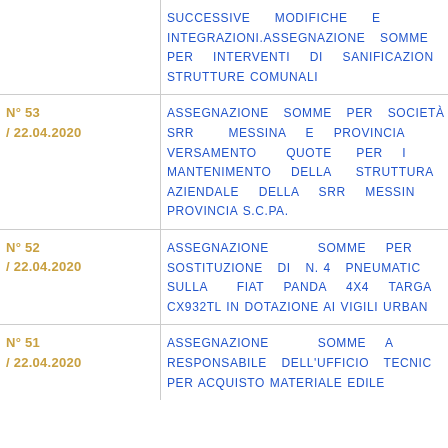| Numero | Descrizione |
| --- | --- |
|  | SUCCESSIVE MODIFICHE E INTEGRAZIONI.ASSEGNAZIONE SOMME PER INTERVENTI DI SANIFICAZIONE STRUTTURE COMUNALI |
| N° 53 / 22.04.2020 | ASSEGNAZIONE SOMME PER SOCIETÀ SRR MESSINA E PROVINCIA - VERSAMENTO QUOTE PER IL MANTENIMENTO DELLA STRUTTURA AZIENDALE DELLA SRR MESSINA PROVINCIA S.C.PA. |
| N° 52 / 22.04.2020 | ASSEGNAZIONE SOMME PER SOSTITUZIONE DI N. 4 PNEUMATICI SULLA FIAT PANDA 4X4 TARGATA CX932TL IN DOTAZIONE AI VIGILI URBANI |
| N° 51 / 22.04.2020 | ASSEGNAZIONE SOMME AL RESPONSABILE DELL'UFFICIO TECNICO PER ACQUISTO MATERIALE EDILE |